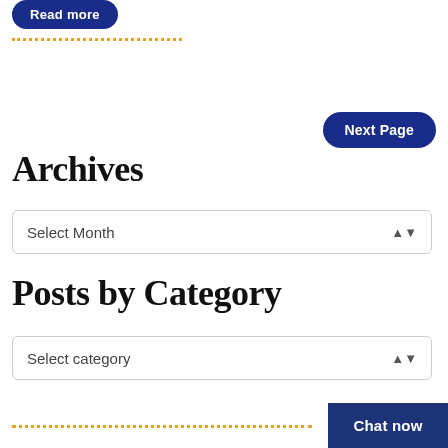Read more
Next Page
Archives
Select Month
Posts by Category
Select category
Chat now